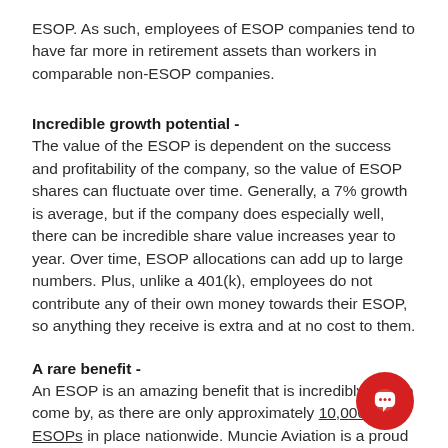ESOP. As such, employees of ESOP companies tend to have far more in retirement assets than workers in comparable non-ESOP companies.
Incredible growth potential -
The value of the ESOP is dependent on the success and profitability of the company, so the value of ESOP shares can fluctuate over time. Generally, a 7% growth is average, but if the company does especially well, there can be incredible share value increases year to year. Over time, ESOP allocations can add up to large numbers. Plus, unlike a 401(k), employees do not contribute any of their own money towards their ESOP, so anything they receive is extra and at no cost to them.
A rare benefit -
An ESOP is an amazing benefit that is incredibly rare to come by, as there are only approximately 10,000 ESOPs in place nationwide. Muncie Aviation is a proud